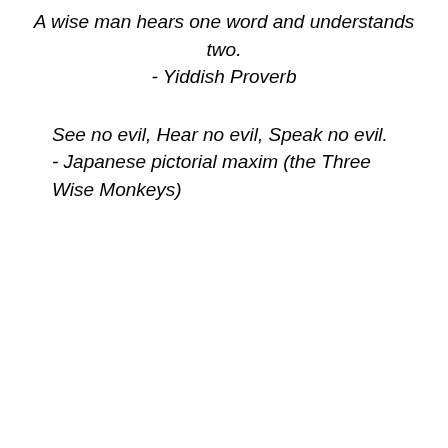A wise man hears one word and understands two.
- Yiddish Proverb
See no evil, Hear no evil, Speak no evil.
- Japanese pictorial maxim (the Three Wise Monkeys)